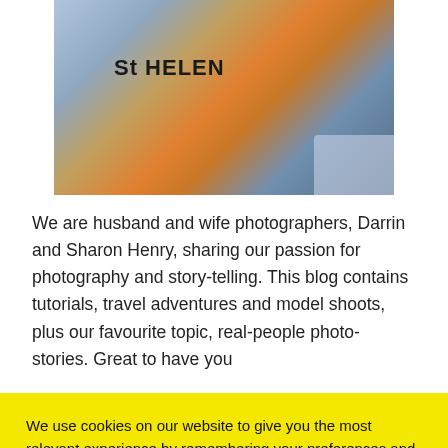[Figure (photo): Partial photo of two people, one wearing an orange 'St Helen' t-shirt, cropped at top of page]
We are husband and wife photographers, Darrin and Sharon Henry, sharing our passion for photography and story-telling. This blog contains tutorials, travel adventures and model shoots, plus our favourite topic, real-people photo-stories. Great to have you
We use cookies on our website to give you the most relevant experience by remembering your preferences and repeat visits. By clicking “Accept All”, you consent to the use of ALL the cookies. However, you may visit "Cookie Settings" to provide a controlled consent.
Privacy & Cookie Policy